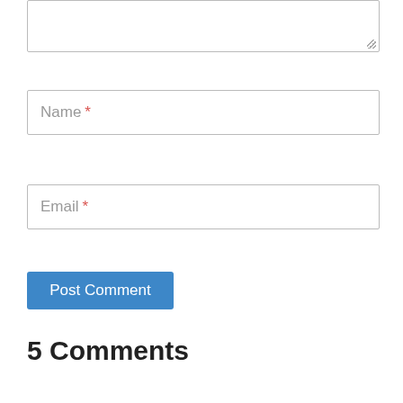[Figure (screenshot): Textarea input box with resize handle in bottom-right corner]
Name *
Email *
Post Comment
5 Comments